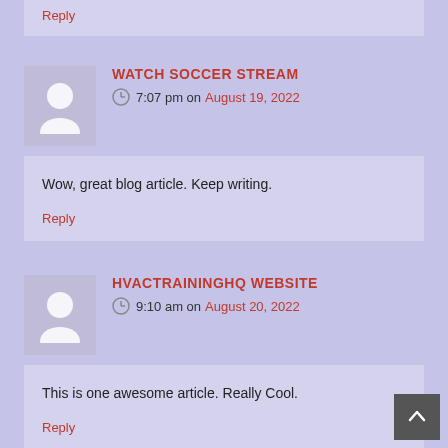Reply
WATCH SOCCER STREAM
7:07 pm on August 19, 2022
Wow, great blog article. Keep writing.
Reply
HVACTRAININGHQ WEBSITE
9:10 am on August 20, 2022
This is one awesome article. Really Cool.
Reply